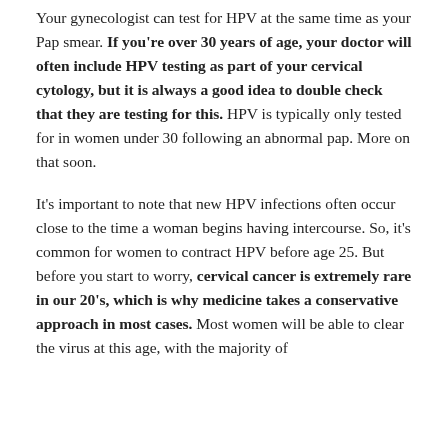Your gynecologist can test for HPV at the same time as your Pap smear. If you're over 30 years of age, your doctor will often include HPV testing as part of your cervical cytology, but it is always a good idea to double check that they are testing for this. HPV is typically only tested for in women under 30 following an abnormal pap. More on that soon.
It's important to note that new HPV infections often occur close to the time a woman begins having intercourse. So, it's common for women to contract HPV before age 25. But before you start to worry, cervical cancer is extremely rare in our 20's, which is why medicine takes a conservative approach in most cases. Most women will be able to clear the virus at this age, with the majority of